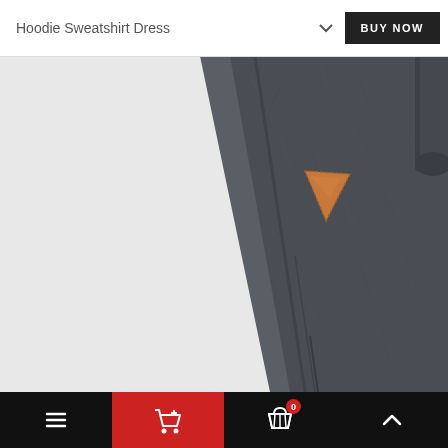Hoodie Sweatshirt Dress
[Figure (photo): Close-up product photo of a dark charcoal grey hoodie sweatshirt dress showing fabric texture with a triangular orange/tan leather logo patch near the top, and a split seam detail. A small portion of the dress hood is visible in the upper right corner.]
[Figure (screenshot): Mobile app bottom navigation bar with hamburger menu icon, shopping cart icon (highlighted in red), basket/cart with badge showing 0, and an up chevron arrow icon.]